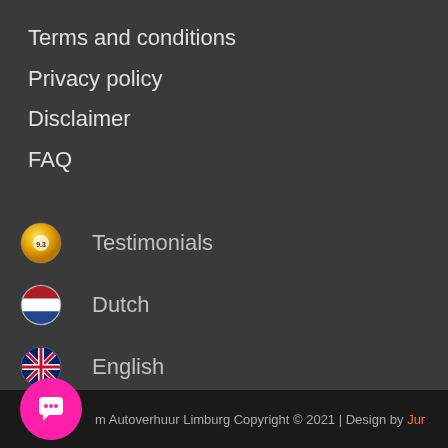Terms and conditions
Privacy policy
Disclaimer
FAQ
Testimonials
Dutch
English
m Autoverhuur Limburg Copyright © 2021 | Design by Jur